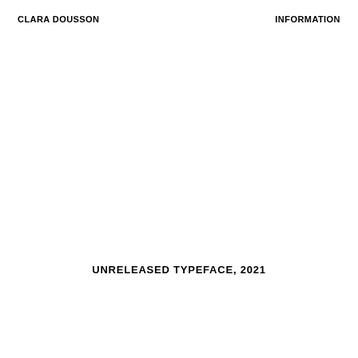CLARA DOUSSON
INFORMATION
UNRELEASED TYPEFACE, 2021